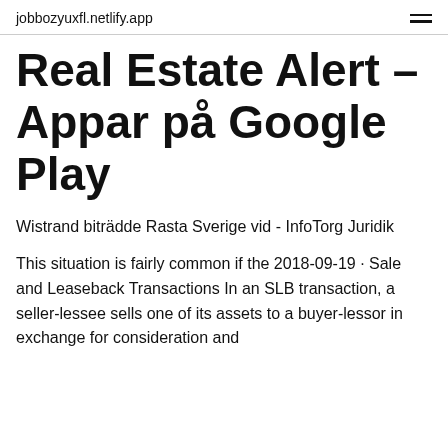jobbozyuxfl.netlify.app
Real Estate Alert – Appar på Google Play
Wistrand biträdde Rasta Sverige vid - InfoTorg Juridik
This situation is fairly common if the 2018-09-19 · Sale and Leaseback Transactions In an SLB transaction, a seller-lessee sells one of its assets to a buyer-lessor in exchange for consideration and